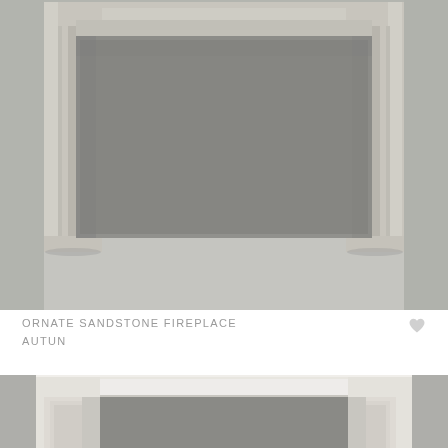[Figure (photo): Photo of an ornate sandstone fireplace mantel (Autun) against a grey wall, showing the full surround with classical moulding details and column-like legs.]
ORNATE SANDSTONE FIREPLACE
AUTUN
[Figure (photo): Partial photo of a second fireplace surround, showing a white/cream painted mantel with stepped mouldings, cropped at the bottom of the page.]